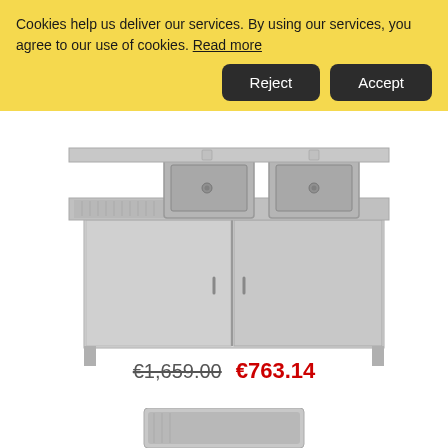Cookies help us deliver our services. By using our services, you agree to our use of cookies. Read more
Reject  Accept
[Figure (photo): Stainless steel commercial kitchen sink unit with two basins, one draining board on the left, and sliding cabinet doors below.]
€1,659.00  €763.14
[Figure (photo): Partial view of another stainless steel kitchen product at the bottom of the page.]